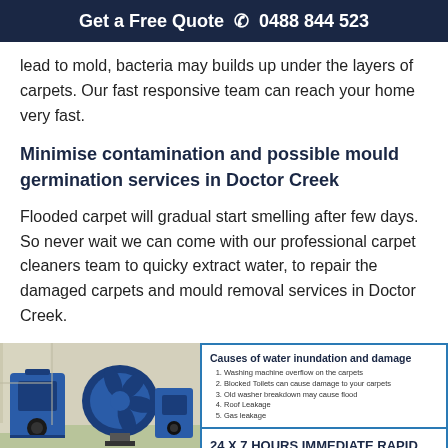Get a Free Quote ☎ 0488 844 523
lead to mold, bacteria may builds up under the layers of carpets. Our fast responsive team can reach your home very fast.
Minimise contamination and possible mould germination services in Doctor Creek
Flooded carpet will gradual start smelling after few days. So never wait we can come with our professional carpet cleaners team to quicky extract water, to repair the damaged carpets and mould removal services in Doctor Creek.
[Figure (photo): Photo of blue industrial water extraction equipment and fans on a flooded floor]
[Figure (infographic): Infographic panel showing causes of water inundation and damage with a numbered list and a 24x7 hours immediate rapid response water extraction service banner]